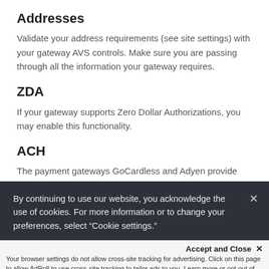Addresses
Validate your address requirements (see site settings) with your gateway AVS controls. Make sure you are passing through all the information your gateway requires.
ZDA
If your gateway supports Zero Dollar Authorizations, you may enable this functionality.
ACH
The payment gateways GoCardless and Adyen provide
By continuing to use our website, you acknowledge the use of cookies. For more information or to change your preferences, select “Cookie settings.”
Accept and Close ×
Your browser settings do not allow cross-site tracking for advertising. Click on this page to allow AdRoll to use cross-site tracking to tailor ads to you. Learn more or opt out of this AdRoll tracking by clicking here. This message only appears once.